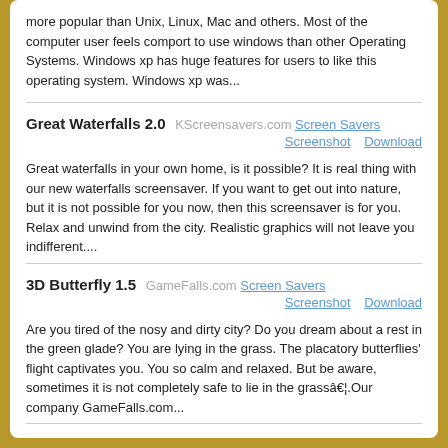more popular than Unix, Linux, Mac and others. Most of the computer user feels comport to use windows than other Operating Systems. Windows xp has huge features for users to like this operating system. Windows xp was...
Great Waterfalls 2.0   KScreensavers.com   Screen Savers   Screenshot   Download
Great waterfalls in your own home, is it possible? It is real thing with our new waterfalls screensaver. If you want to get out into nature, but it is not possible for you now, then this screensaver is for you. Relax and unwind from the city. Realistic graphics will not leave you indifferent....
3D Butterfly 1.5   GameFalls.com   Screen Savers   Screenshot   Download
Are you tired of the nosy and dirty city? Do you dream about a rest in the green glade? You are lying in the grass. The placatory butterflies' flight captivates you. You so calm and relaxed. But be aware, sometimes it is not completely safe to lie in the grassâ€¦.Our company GameFalls.com...
File Guru   File Categories   New File   Top File   Submit File   Submit URL   RSS Feeds   Bookmark   Link to Us   Privacy Policy   Feedback/Contact   Web Directory   Copyright 2000-2020 © FileGuru.Com